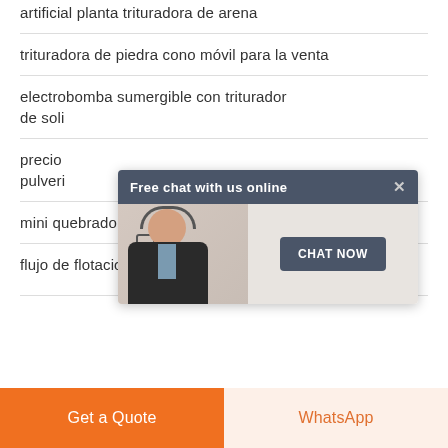artificial planta trituradora de arena
trituradora de piedra cono móvil para la venta
electrobomba sumergible con triturador de soli…
precio … pulveri…
[Figure (screenshot): Chat popup with header 'Free chat with us online', an image of a woman with a headset, and a 'CHAT NOW' button]
mini quebradora colombia
flujo de flotacion cartagena
Get a Quote
WhatsApp